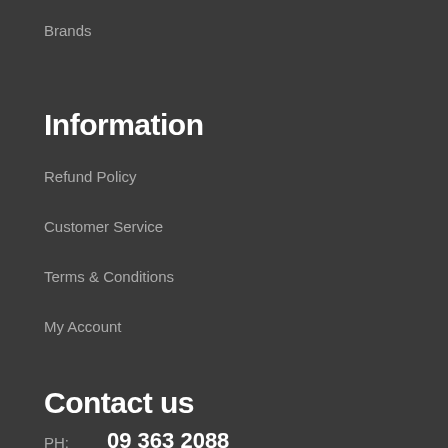Brands
Information
Refund Policy
Customer Service
Terms & Conditions
My Account
Contact us
PH: 09 363 2088